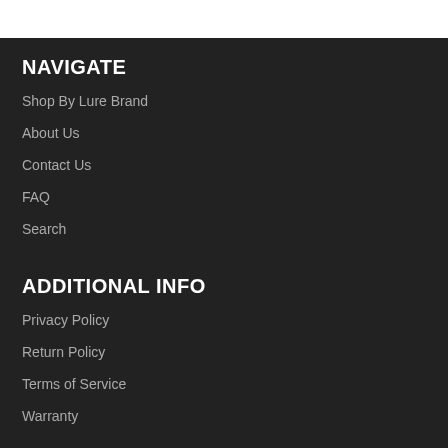NAVIGATE
Shop By Lure Brand
About Us
Contact Us
FAQ
Search
ADDITIONAL INFO
Privacy Policy
Return Policy
Terms of Service
Warranty